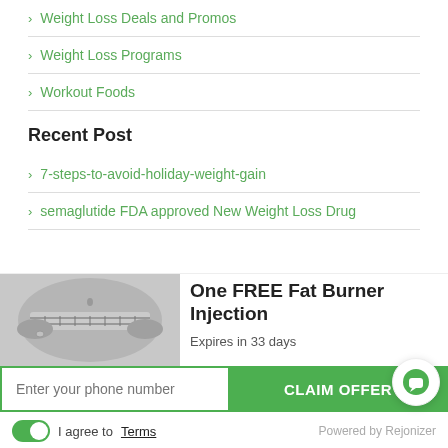Weight Loss Deals and Promos
Weight Loss Programs
Workout Foods
Recent Post
7-steps-to-avoid-holiday-weight-gain
semaglutide FDA approved New Weight Loss Drug
[Figure (photo): Black and white photo of a person measuring their waist with a tape measure]
One FREE Fat Burner Injection
Expires in 33 days
Enter your phone number
CLAIM OFFER
I agree to Terms
Powered by Rejonizer